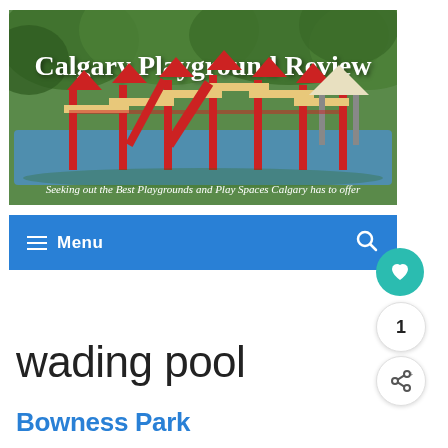[Figure (photo): Banner image for Calgary Playground Review website showing a large red playground structure with slides and climbing equipment, surrounded by green trees. Text overlay reads 'Calgary Playground Review' and 'Seeking out the Best Playgrounds and Play Spaces Calgary has to offer'.]
≡  Menu  🔍
wading pool
Bowness Park